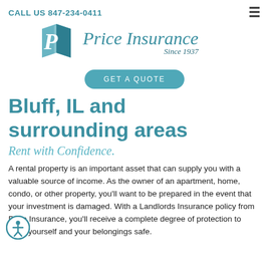CALL US 847-234-0411
[Figure (logo): Price Insurance logo with a stylized blue P and open book icon, italic serif text 'Price Insurance' and 'Since 1937']
GET A QUOTE
Bluff, IL and surrounding areas
Rent with Confidence.
A rental property is an important asset that can supply you with a valuable source of income. As the owner of an apartment, home, condo, or other property, you'll want to be prepared in the event that your investment is damaged. With a Landlords Insurance policy from Price Insurance, you'll receive a complete degree of protection to keep yourself and your belongings safe.